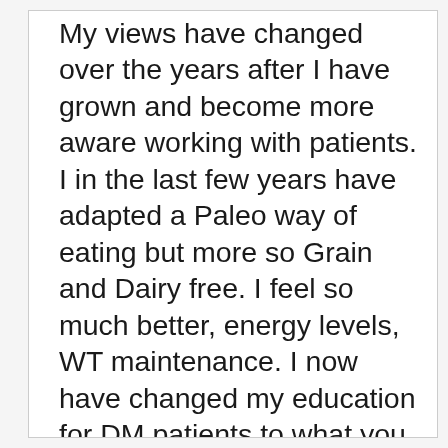My views have changed over the years after I have grown and become more aware working with patients. I in the last few years have adapted a Paleo way of eating but more so Grain and Dairy free. I feel so much better, energy levels, WT maintenance. I now have changed my education for DM patients to what you are speaking of. Pharmaceutical companies are beyond out of control and empowering patients that they have more control by diet and movement than what they think they do – better outcomes? thank you for this!!